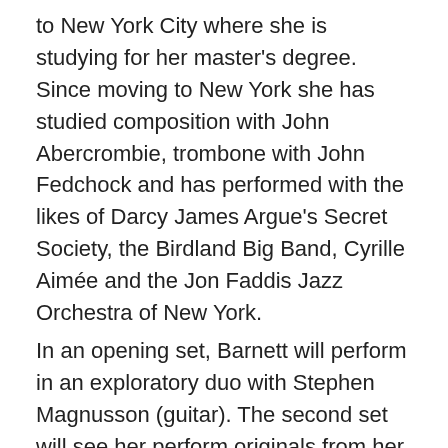to New York City where she is studying for her master's degree. Since moving to New York she has studied composition with John Abercrombie, trombone with John Fedchock and has performed with the likes of Darcy James Argue's Secret Society, the Birdland Big Band, Cyrille Aimée and the Jon Faddis Jazz Orchestra of New York.
In an opening set, Barnett will perform in an exploratory duo with Stephen Magnusson (guitar). The second set will see her perform originals from her debut album, Country, with Nash Lee (guitar), Chris Hale (bass), and Chris Port (Drums).
Sunday, November 17, 8.30pm: AARON CHOULAI QUINTET (Tokyo/Melbourne) – Premiere
At the age of 31, award winning and critically acclaimed